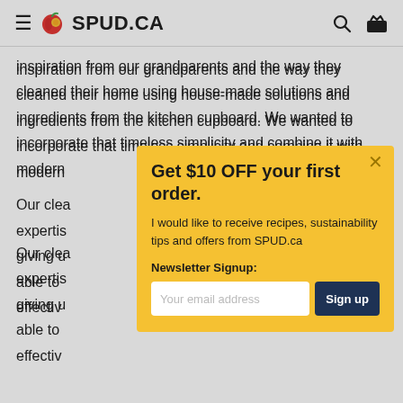SPUD.CA
inspiration from our grandparents and the way they cleaned their home using house-made solutions and ingredients from the kitchen cupboard. We wanted to incorporate that timeless simplicity and combine it with modern
Our clea… expertis… giving u… able to… effectiv…
Get $10 OFF your first order.
I would like to receive recipes, sustainability tips and offers from SPUD.ca
Newsletter Signup:
Your email address  Sign up